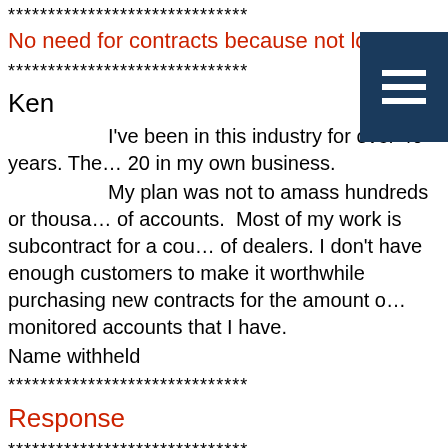******************************
No need for contracts because not looking for c…
******************************
Ken
I've been in this industry for over 40 years. The… 20 in my own business.
My plan was not to amass hundreds or thousa… of accounts. Most of my work is subcontract for a cou… of dealers. I don't have enough customers to make it worthwhile purchasing new contracts for the amount o… monitored accounts that I have.
Name withheld
******************************
Response
******************************
That's quite the business plan, though I am sor…